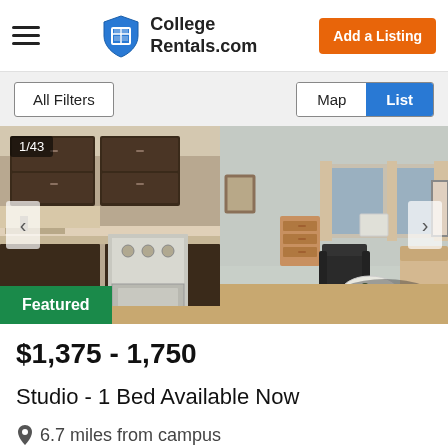CollegeRentals.com — Add a Listing
[Figure (screenshot): Website header with hamburger menu, CollegeRentals.com logo with blue shield icon, and orange 'Add a Listing' button]
[Figure (photo): Apartment interior showing kitchen with dark wood cabinets and stainless stove on left, living room with ceiling fan, windows with curtains, chair, and sofa on right. Counter shows '1/43'. Green 'Featured' badge in lower left.]
$1,375 - 1,750
Studio - 1 Bed Available Now
6.7 miles from campus